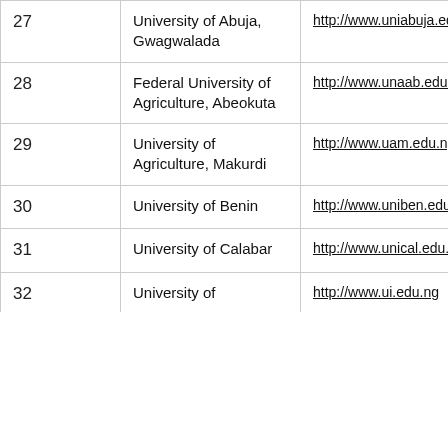| 27 | University of Abuja, Gwagwalada | http://www.uniabuja.edu.ng |
| 28 | Federal University of Agriculture, Abeokuta | http://www.unaab.edu.ng |
| 29 | University of Agriculture, Makurdi | http://www.uam.edu.ng |
| 30 | University of Benin | http://www.uniben.edu.ng |
| 31 | University of Calabar | http://www.unical.edu.ng |
| 32 | University of ... | http://www.ui.edu.ng |